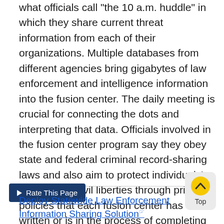what officials call 'the 10 a.m. huddle' in which they share current threat information from each of their organizations. Multiple databases from different agencies bring gigabytes of law enforcement and intelligence information into the fusion center. The daily meeting is crucial for connecting the dots and interpreting that data. Officials involved in the fusion center program say they obey state and federal criminal record-sharing laws and also aim to protect individuals' privacy and civil liberties through privacy policies that each fusion center has written or is in the process of completing soon.
Rate This Page
Deploy Statewide Law Enforcement Information Sharing Solution